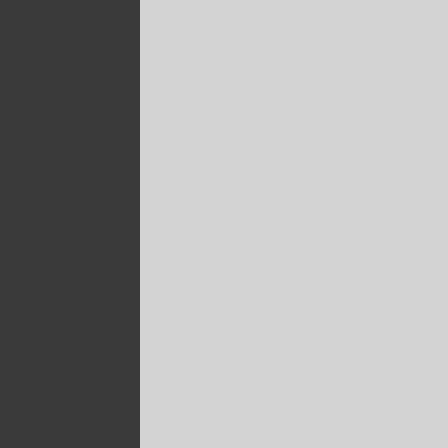Rampant risk taking,
Excessive leverage, a
A stock market bubble
PATTERNS -Megaphone Fra
SOURCE
The market looks like it's topp always stage a final blow off t to the low 1800s. If things rea
There is certainly no shortage
1)   Mario Draghi's "b There may in fact be national central bank
2)   Japan's economy market is heading tow policies (QE efforts g market rates could bl
3)   Based on un-mas than half of all future bode well for the wor
4)   The US Dollar is